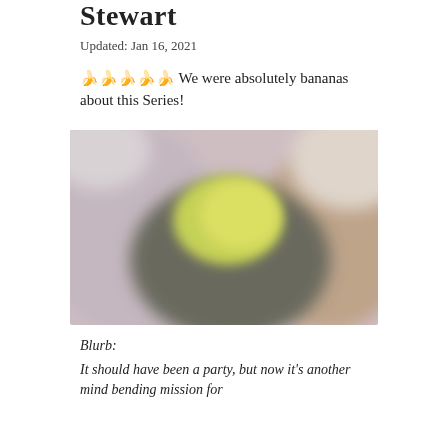Stewart
Updated: Jan 16, 2021
🍌🍌🍌🍌🍌 We were absolutely bananas about this Series!
[Figure (photo): Blurry close-up photograph showing yellow-green and dark objects, possibly fruit or plants, with muted mauve/brown tones in background]
Blurb:
It should have been a party, but now it's another mind bending mission for